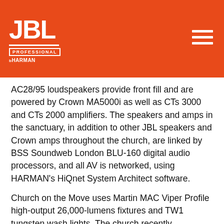[Figure (logo): JBL Professional by HARMAN logo in white on orange/red background, with hamburger menu icon on the right]
AC28/95 loudspeakers provide front fill and are powered by Crown MA5000i as well as CTs 3000 and CTs 2000 amplifiers. The speakers and amps in the sanctuary, in addition to other JBL speakers and Crown amps throughout the church, are linked by BSS Soundweb London BLU-160 digital audio processors, and all AV is networked, using HARMAN's HiQnet System Architect software.
Church on the Move uses Martin MAC Viper Profile high-output 26,000-lumens fixtures and TW1 tungsten wash lights. The church recently purchased a number of Martin VC-Dot 1 fixtures, individually controllable LED dots that are used to create customized video displays.